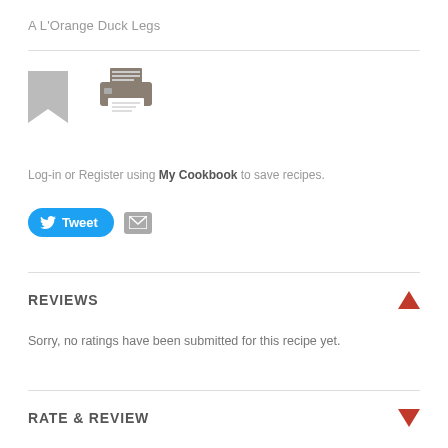A L'Orange Duck Legs
[Figure (illustration): Bookmark icon (grey) and printer icon (dark grey/brown) side by side]
Log-in or Register using My Cookbook to save recipes.
[Figure (infographic): Tweet button (blue rounded, Twitter bird icon + 'Tweet' text) and email envelope icon button]
REVIEWS
Sorry, no ratings have been submitted for this recipe yet.
RATE & REVIEW